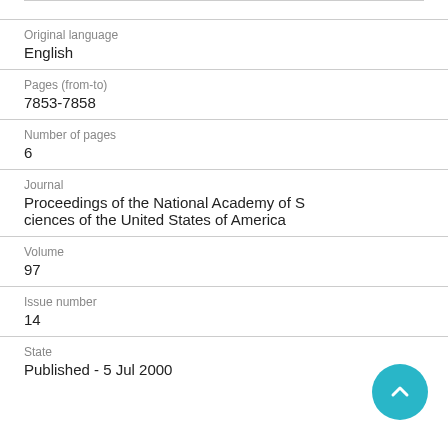Original language
English
Pages (from-to)
7853-7858
Number of pages
6
Journal
Proceedings of the National Academy of Sciences of the United States of America
Volume
97
Issue number
14
State
Published - 5 Jul 2000